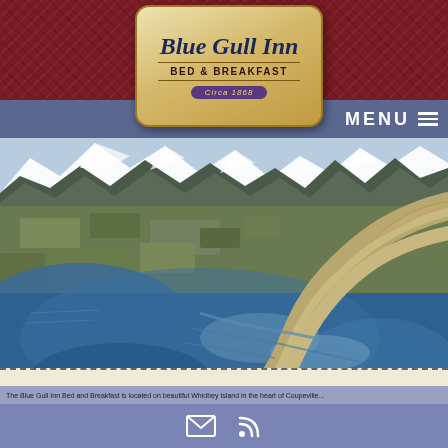[Figure (logo): Blue Gull Inn Bed & Breakfast logo on aged parchment background with dark red plaid header]
Know It
[Figure (photo): Aerial photograph of a coastal spit or narrow peninsula curving through blue water, with snow-capped mountains and green flatlands in the background]
Email and RSS feed icons on blue footer bar